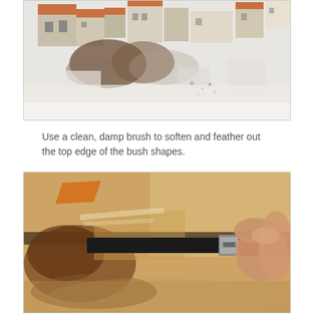[Figure (photo): Watercolor painting of Mediterranean-style buildings with terracotta roofs, partially dissolved into white paper with brown and gray watercolor washes creating a dreamy, loose effect at the bottom.]
Use a clean, damp brush to soften and feather out the top edge of the bush shapes.
[Figure (photo): Close-up photo of a hand holding a flat brush with black bristles and a red handle, applying watercolor paint to a painting in progress showing brown and golden tones with loose washes.]